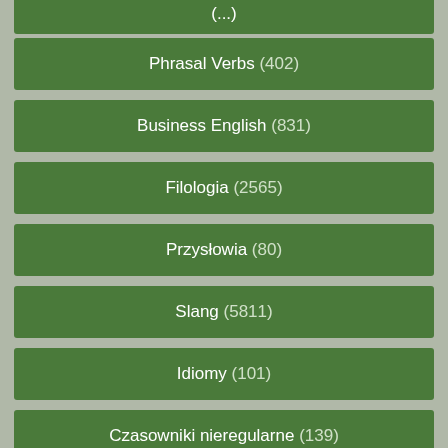Phrasal Verbs (402)
Business English (831)
Filologia (2565)
Przysłowia (80)
Slang (5811)
Idiomy (101)
Czasowniki nieregularne (139)
Słownictwo angielskie - poziom A1 (614)
Słownictwo angielskie - poziom A2 (1096)
Słownictwo angielskie - poziom B1 (1530)